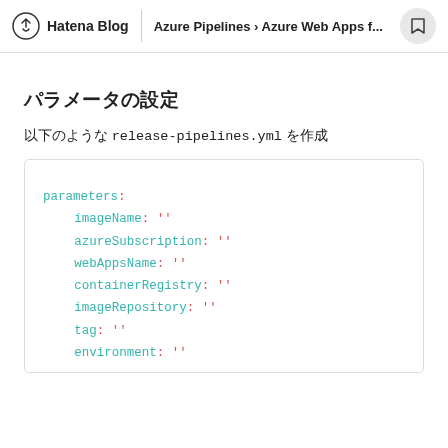Hatena Blog | Azure Pipelines › Azure Web Apps f...
パラメータの設定
以下のような release-pipelines.yml を作成
[Figure (screenshot): YAML code block showing pipeline parameters: imageName, azureSubscription, webAppsName, containerRegistry, imageRepository, tag, environment — all set to empty string '']